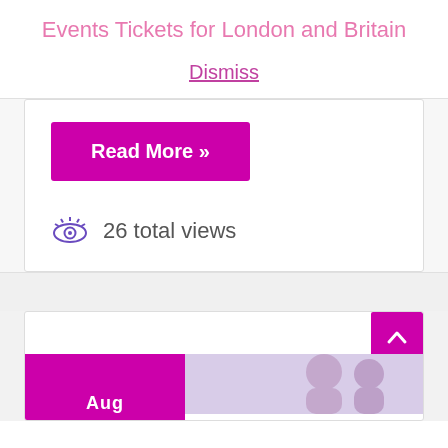Events Tickets for London and Britain
Dismiss
Read More »
26 total views
Aug
[Figure (photo): Two people in close proximity, photo partially visible at bottom of page]